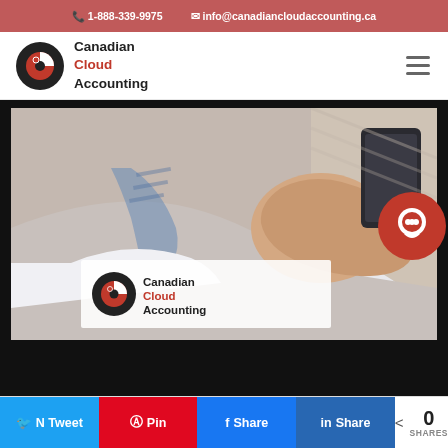1-888-339-9975  info@canadiancloudaccounting.ca
[Figure (logo): Canadian Cloud Accounting logo with circular red/black disk icon and company name text]
[Figure (photo): Person in white shirt using a smartphone/tablet, with Canadian Cloud Accounting logo overlay at bottom]
N Tweet  A Pin  f Share  in Share  < 0 SHARES